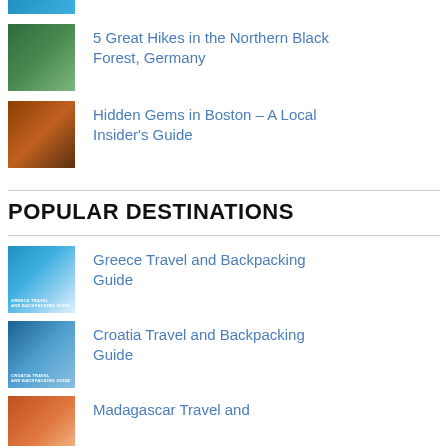[Figure (photo): Partial thumbnail at top of page (cropped travel photo)]
5 Great Hikes in the Northern Black Forest, Germany
Hidden Gems in Boston – A Local Insider's Guide
POPULAR DESTINATIONS
Greece Travel and Backpacking Guide
Croatia Travel and Backpacking Guide
Madagascar Travel and